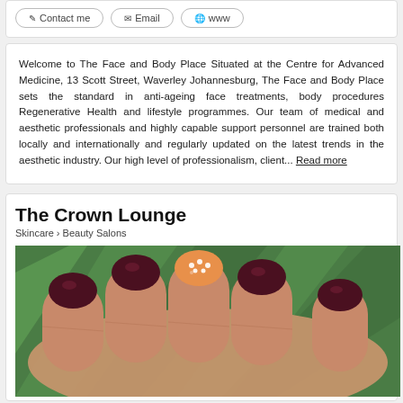Contact me | Email | www
Welcome to The Face and Body Place Situated at the Centre for Advanced Medicine, 13 Scott Street, Waverley Johannesburg, The Face and Body Place sets the standard in anti-ageing face treatments, body procedures Regenerative Health and lifestyle programmes. Our team of medical and aesthetic professionals and highly capable support personnel are trained both locally and internationally and regularly updated on the latest trends in the aesthetic industry. Our high level of professionalism, client... Read more
The Crown Lounge
Skincare > Beauty Salons
[Figure (photo): Close-up photo of manicured nails with dark maroon/burgundy polish and one nail with orange and rhinestone nail art, against a green leafy background]